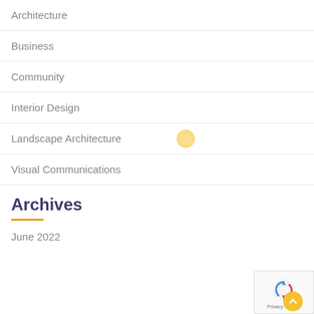Architecture
Business
Community
Interior Design
Landscape Architecture
Visual Communications
Archives
June 2022